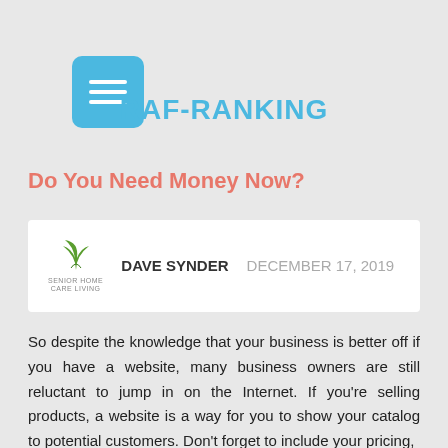[Figure (logo): Blue rounded square hamburger menu button icon with three white horizontal lines]
RAF-RANKING
Do You Need Money Now?
[Figure (logo): Senior Home logo - green plant/leaf icon with 'SENIOR HOME' text below]
DAVE SYNDER   DECEMBER 17, 2019
So despite the knowledge that your business is better off if you have a website, many business owners are still reluctant to jump in on the Internet. If you're selling products, a website is a way for you to show your catalog to potential customers. Don't forget to include your pricing,